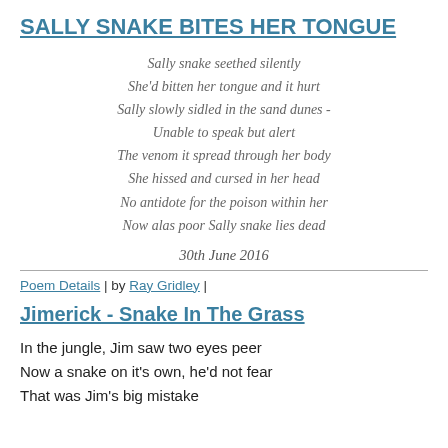SALLY SNAKE BITES HER TONGUE
Sally snake seethed silently
She'd bitten her tongue and it hurt
Sally slowly sidled in the sand dunes -
Unable to speak but alert
The venom it spread through her body
She hissed and cursed in her head
No antidote for the poison within her
Now alas poor Sally snake lies dead
30th June 2016
Poem Details | by Ray Gridley |
Jimerick - Snake In The Grass
In the jungle, Jim saw two eyes peer
Now a snake on it's own, he'd not fear
That was Jim's big mistake